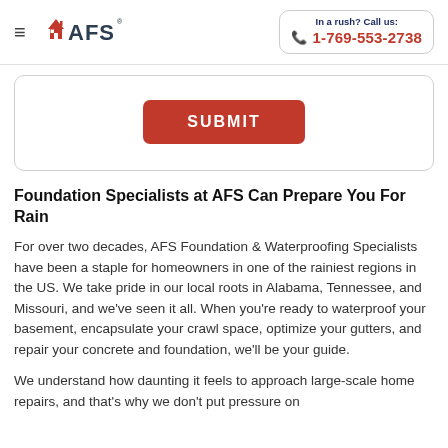AFS | In a rush? Call us: 1-769-553-2738
[Figure (other): AFS logo with house icon and hamburger menu]
[Figure (other): SUBMIT button inside a rounded border form card]
Foundation Specialists at AFS Can Prepare You For Rain
For over two decades, AFS Foundation & Waterproofing Specialists have been a staple for homeowners in one of the rainiest regions in the US. We take pride in our local roots in Alabama, Tennessee, and Missouri, and we've seen it all. When you're ready to waterproof your basement, encapsulate your crawl space, optimize your gutters, and repair your concrete and foundation, we'll be your guide.
We understand how daunting it feels to approach large-scale home repairs, and that's why we don't put pressure on